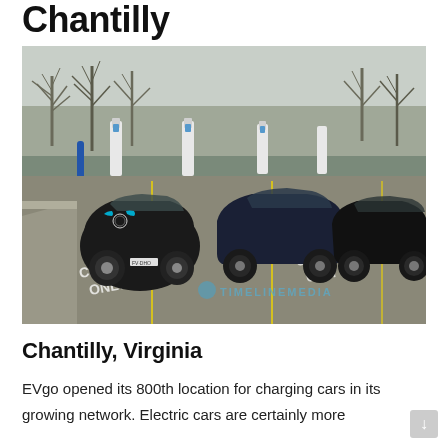Chantilly
[Figure (photo): Three electric vehicles parked at EV charging stations in a parking lot with charging equipment visible, trees in background, pavement marked with 'EV CHARGING ONLY'. Watermark reads 'TIMELINE MEDIA'.]
Chantilly, Virginia
EVgo opened its 800th location for charging cars in its growing network. Electric cars are certainly more